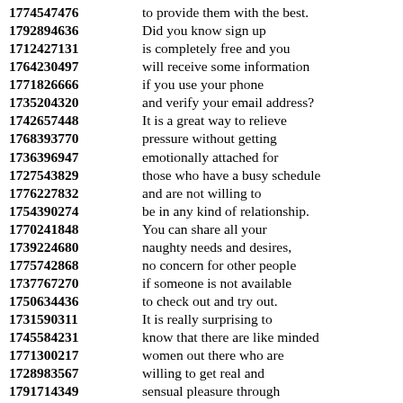1774547476 to provide them with the best.
1792894636 Did you know sign up
1712427131 is completely free and you
1764230497 will receive some information
1771826666 if you use your phone
1735204320 and verify your email address?
1742657448 It is a great way to relieve
1768393770 pressure without getting
1736396947 emotionally attached for
1727543829 those who have a busy schedule
1776227832 and are not willing to
1754390274 be in any kind of relationship.
1770241848 You can share all your
1739224680 naughty needs and desires,
1775742868 no concern for other people
1737767270 if someone is not available
1750634436 to check out and try out.
1731590311 It is really surprising to
1745584231 know that there are like minded
1771300217 women out there who are
1728983567 willing to get real and
1791714349 sensual pleasure through
1715366930 online chat messenger.
1733178751 To make your search results
1779103225 uncomplicated, and simple